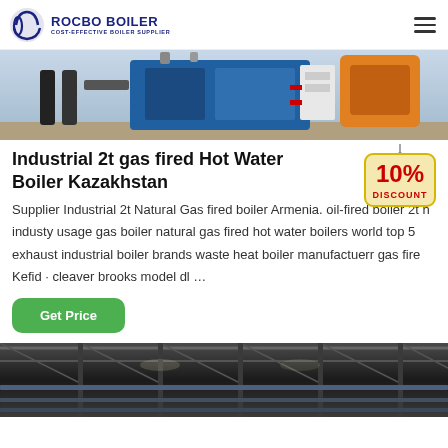ROCBO BOILER — COST-EFFECTIVE BOILER SUPPLIER
[Figure (photo): Industrial gas fired boiler equipment — blue and grey industrial boiler unit]
Industrial 2t gas fired Hot Water Boiler Kazakhstan
[Figure (other): 10% DISCOUNT badge/sticker graphic]
Supplier Industrial 2t Natural Gas fired boiler Armenia. oil-fired boiler 2t h industy usage gas boiler natural gas fired hot water boilers world top 5 exhaust industrial boiler brands waste heat boiler manufactuerr gas fire Kefid · cleaver brooks model dl …
[Figure (photo): Industrial warehouse interior with pipes and structural steel beams — dark grey tones]